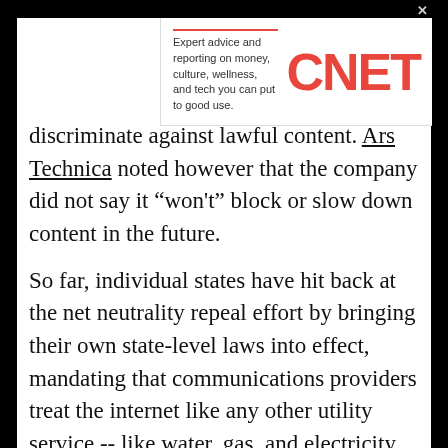[Figure (other): CNET advertisement banner with tagline 'Expert advice and reporting on money, culture, wellness, and tech you can put to good use.' and the red CNET logo]
discriminate against lawful content. Ars Technica noted however that the company did not say it "won't" block or slow down content in the future.
So far, individual states have hit back at the net neutrality repeal effort by bringing their own state-level laws into effect, mandating that communications providers treat the internet like any other utility service -- like water, gas, and electricity.
Washington state is the first to bring laws into effect, with New York and Montana seen as likely contenders to be next in line.